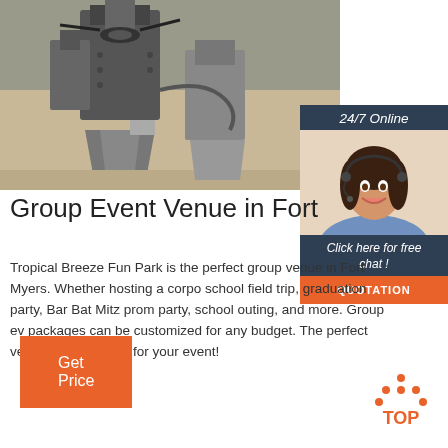[Figure (photo): Industrial machinery — metal grinding/milling equipment in an outdoor or factory setting, close-up of metallic cylindrical and conical parts]
[Figure (illustration): 24/7 Online chat widget showing a woman wearing a headset smiling, with 'Click here for free chat!' text and an orange QUOTATION button]
Group Event Venue in Fort
Tropical Breeze Fun Park is the perfect group venue in Fort Myers. Whether hosting a corporate school field trip, graduation party, Bar Bat Mitzvah, prom party, school outing, and more. Group event packages can be customized for any budget. The perfect venue in Fort Myers for your event!
[Figure (illustration): Orange 'Get Price' button]
[Figure (logo): TOP icon — orange dots forming an upward arrow/house shape above the text 'TOP']